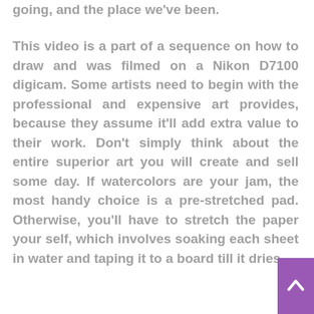going, and the place we've been.
This video is a part of a sequence on how to draw and was filmed on a Nikon D7100 digicam. Some artists need to begin with the professional and expensive art provides, because they assume it'll add extra value to their work. Don't simply think about the entire superior art you will create and sell some day. If watercolors are your jam, the most handy choice is a pre-stretched pad. Otherwise, you'll have to stretch the paper your self, which involves soaking each sheet in water and taping it to a board till it dries.